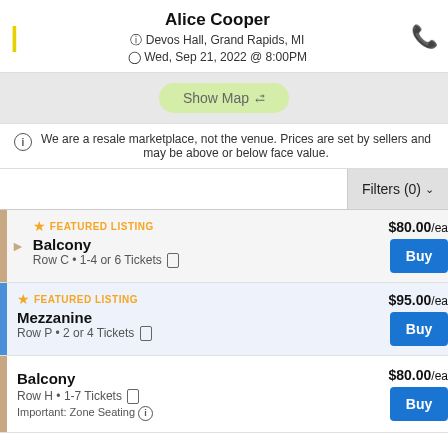Alice Cooper — Devos Hall, Grand Rapids, MI — Wed, Sep 21, 2022 @ 8:00PM
[Figure (screenshot): Show Map button with expand icon, venue map thumbnail in background]
We are a resale marketplace, not the venue. Prices are set by sellers and may be above or below face value.
Filters (0)
FEATURED LISTING — Balcony — Row C • 1-4 or 6 Tickets — $80.00/ea — Buy
FEATURED LISTING — Mezzanine — Row P • 2 or 4 Tickets — $95.00/ea — Buy
Balcony — Row H • 1-7 Tickets — Important: Zone Seating — $80.00/ea — Buy